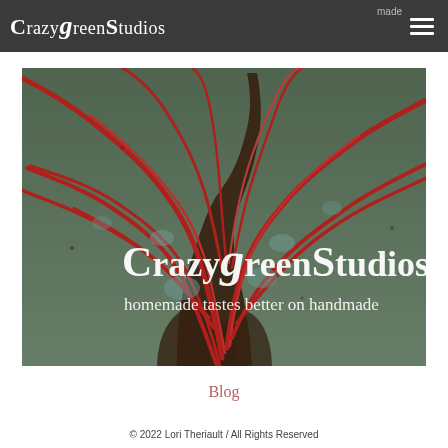CrazyGreenStudios
[Figure (illustration): Decorative ceramic or pottery artwork showing tree-like flowing red lines on a green/teal background. Overlay text reads 'CrazyGreenStudios' and 'homemade tastes better on handmade'.]
Blog
© 2022 Lori Theriault / All Rights Reserved